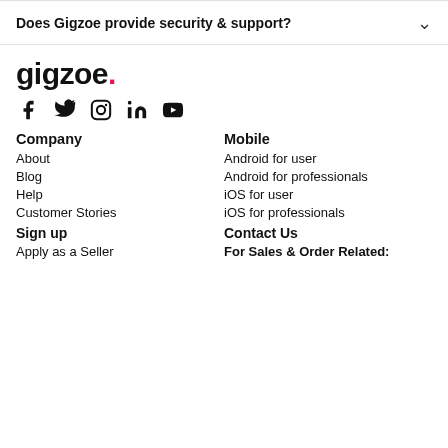Does Gigzoe provide security & support?
[Figure (logo): gigzoe. logo in bold black text with a red dot]
[Figure (infographic): Social media icons: Facebook, Twitter, Instagram, LinkedIn, YouTube]
Company
About
Blog
Help
Customer Stories
Sign up
Apply as a Seller
Mobile
Android for user
Android for professionals
iOS for user
iOS for professionals
Contact Us
For Sales & Order Related: